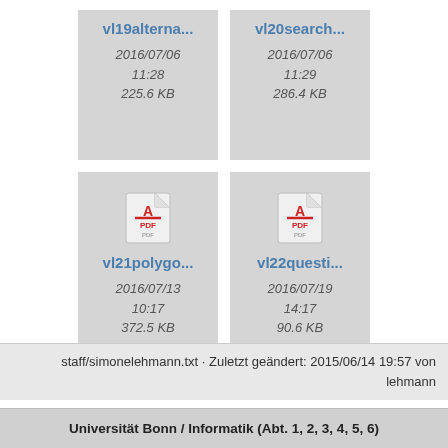[Figure (screenshot): File card for vl19alterna... PDF, dated 2016/07/06 11:28, 225.6 KB]
[Figure (screenshot): File card for vl20search... PDF, dated 2016/07/06 11:29, 286.4 KB]
[Figure (screenshot): File card for vl21polygo... PDF with PDF icon, dated 2016/07/13 10:17, 372.5 KB]
[Figure (screenshot): File card for vl22questi... PDF with PDF icon, dated 2016/07/19 14:17, 90.6 KB]
staff/simonelehmann.txt · Zuletzt geändert: 2015/06/14 19:57 von lehmann
Universität Bonn / Informatik (Abt. 1, 2, 3, 4, 5, 6)